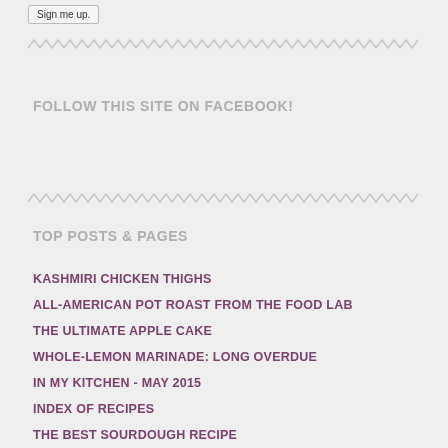Sign me up.
FOLLOW THIS SITE ON FACEBOOK!
TOP POSTS & PAGES
KASHMIRI CHICKEN THIGHS
ALL-AMERICAN POT ROAST FROM THE FOOD LAB
THE ULTIMATE APPLE CAKE
WHOLE-LEMON MARINADE: LONG OVERDUE
IN MY KITCHEN - MAY 2015
INDEX OF RECIPES
THE BEST SOURDOUGH RECIPE